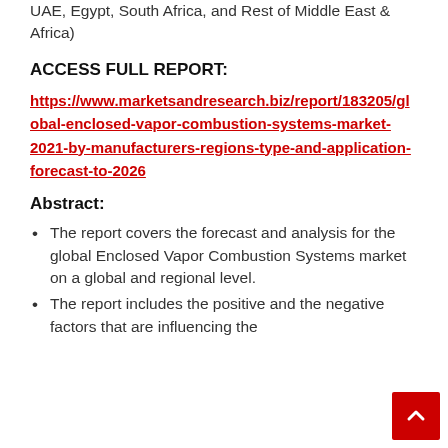UAE, Egypt, South Africa, and Rest of Middle East & Africa)
ACCESS FULL REPORT:
https://www.marketsandresearch.biz/report/183205/global-enclosed-vapor-combustion-systems-market-2021-by-manufacturers-regions-type-and-application-forecast-to-2026
Abstract:
The report covers the forecast and analysis for the global Enclosed Vapor Combustion Systems market on a global and regional level.
The report includes the positive and the negative factors that are influencing the